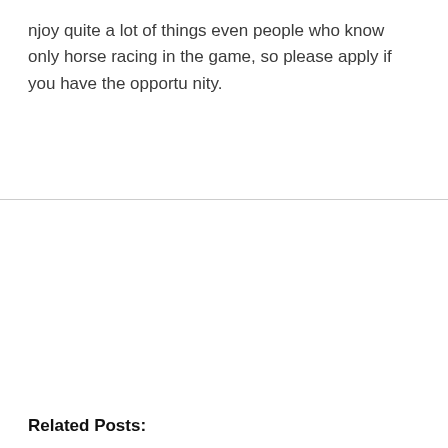njoy quite a lot of things even people who know only horse racing in the game, so please apply if you have the opportunity.
Related Posts: